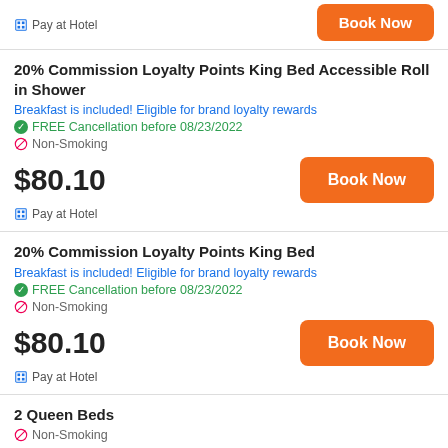Pay at Hotel
20% Commission Loyalty Points King Bed Accessible Roll in Shower
Breakfast is included! Eligible for brand loyalty rewards
FREE Cancellation before 08/23/2022
Non-Smoking
$80.10
Pay at Hotel
20% Commission Loyalty Points King Bed
Breakfast is included! Eligible for brand loyalty rewards
FREE Cancellation before 08/23/2022
Non-Smoking
$80.10
Pay at Hotel
2 Queen Beds
Non-Smoking